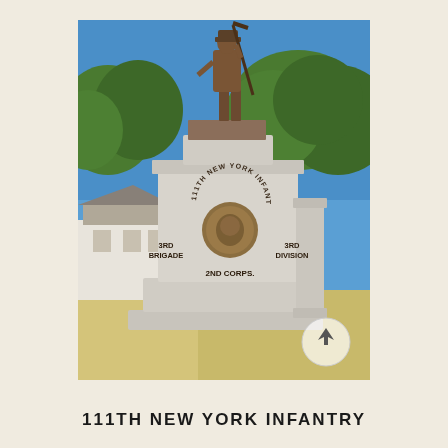[Figure (photo): Photograph of the 111th New York Infantry monument at Gettysburg. A bronze soldier stands atop a large granite pedestal. The pedestal displays a bronze medallion and text reading '111TH NEW YORK INFANTRY', '3RD BRIGADE', '3RD DIVISION', '2ND CORPS'. Trees and a white building are visible in the background under a blue sky.]
111TH NEW YORK INFANTRY